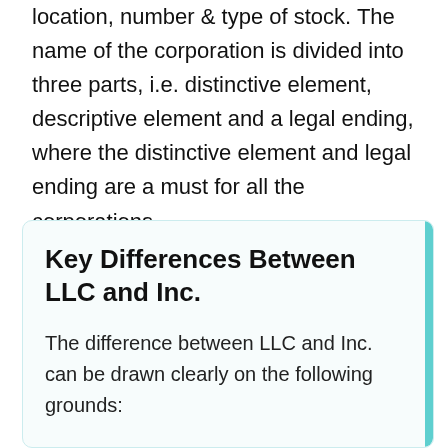location, number & type of stock. The name of the corporation is divided into three parts, i.e. distinctive element, descriptive element and a legal ending, where the distinctive element and legal ending are a must for all the corporations.
Key Differences Between LLC and Inc.
The difference between LLC and Inc. can be drawn clearly on the following grounds: